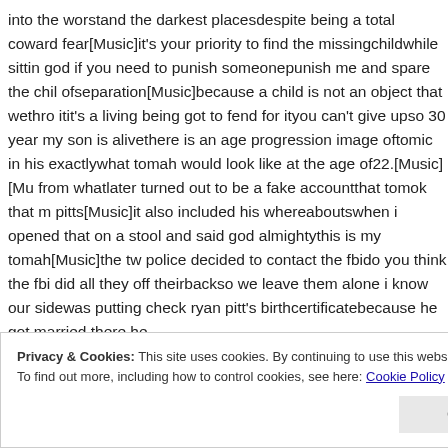into the worstand the darkest placesdespite being a total coward fear[Music]it's your priority to find the missingchildwhile sittin god if you need to punish someonepunish me and spare the chil ofseparation[Music]because a child is not an object that wethro itit's a living being got to fend for ityou can't give upso 30 year my son is alivethere is an age progression image oftomic in his exactlywhat tomah would look like at the age of22.[Music][Mu from whatlater turned out to be a fake accountthat tomok that m pitts[Music]it also included his whereaboutswhen i opened that on a stool and said god almightythis is my tomah[Music]the tw police decided to contact the fbido you think the fbi did all they off theirbackso we leave them alone i know our sidewas putting check ryan pitt's birthcertificatebecause he got married there he
Privacy & Cookies: This site uses cookies. By continuing to use this website, you agree to their use.
To find out more, including how to control cookies, see here: Cookie Policy
Close and accept